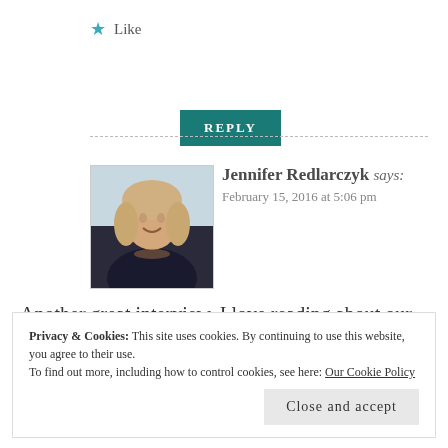★ Like
REPLY
[Figure (photo): Profile photo of Jennifer Redlarczyk, a woman with blonde hair smiling]
Jennifer Redlarczyk says: February 15, 2016 at 5:06 pm
Another great interview. I love reading about our authors. Thanks, gals. Jen Red
Privacy & Cookies: This site uses cookies. By continuing to use this website, you agree to their use. To find out more, including how to control cookies, see here: Our Cookie Policy
Close and accept